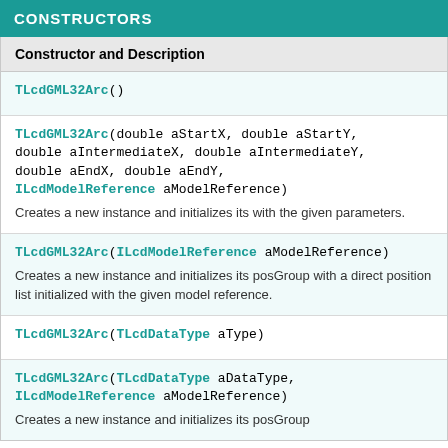CONSTRUCTORS
| Constructor and Description |
| --- |
| TLcdGML32Arc() |
| TLcdGML32Arc(double aStartX, double aStartY, double aIntermediateX, double aIntermediateY, double aEndX, double aEndY, ILcdModelReference aModelReference)
Creates a new instance and initializes its with the given parameters. |
| TLcdGML32Arc(ILcdModelReference aModelReference)
Creates a new instance and initializes its posGroup with a direct position list initialized with the given model reference. |
| TLcdGML32Arc(TLcdDataType aType) |
| TLcdGML32Arc(TLcdDataType aDataType, ILcdModelReference aModelReference)
Creates a new instance and initializes its posGroup |